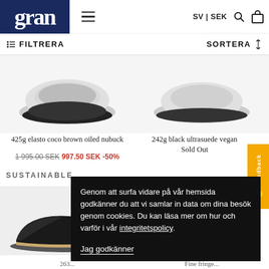gran | SV | SEK
FILTRERA   SORTERA
[Figure (photo): Product image: 425g elasto coco brown oiled nubuck shoe/slipper, white background]
425g elasto coco brown oiled nubuck
1 995.00 SEK  997.50 SEK -50%
[Figure (photo): Product image: 242g black ultrasuede vegan shoe, white background]
242g black ultrasuede vegan
Sold Out
SUSTAINABLE
[Figure (photo): Black leather shoe/slipper with tan sole, photographed at angle]
[Figure (photo): Black packaging bag with hang hole]
Genom att surfa vidare på vår hemsida godkänner du att vi samlar in data om dina besök genom cookies. Du kan läsa mer om hur och varför i vår integritetspolicy.

Jag godkänner
263...
Fine fringe...